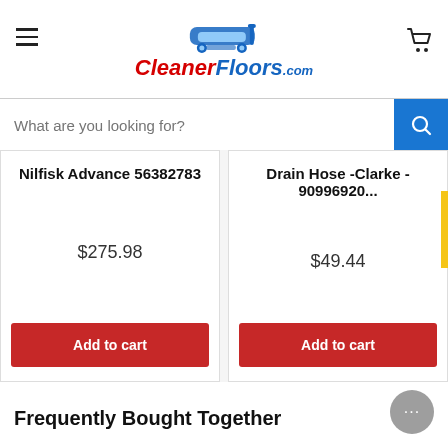[Figure (logo): CleanerFloors.com logo with blue floor scrubber truck illustration and red/blue italic text]
What are you looking for?
Nilfisk Advance 56382783
$275.98
Add to cart
Drain Hose -Clarke - 90996920...
$49.44
Add to cart
Reviews
Frequently Bought Together